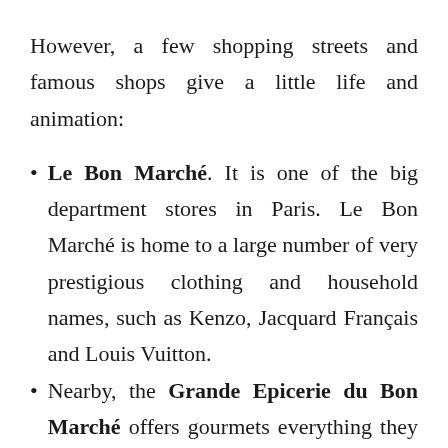However, a few shopping streets and famous shops give a little life and animation:
Le Bon Marché. It is one of the big department stores in Paris. Le Bon Marché is home to a large number of very prestigious clothing and household names, such as Kenzo, Jacquard Français and Louis Vuitton.
Nearby, the Grande Epicerie du Bon Marché offers gourmets everything they need for a gourmet